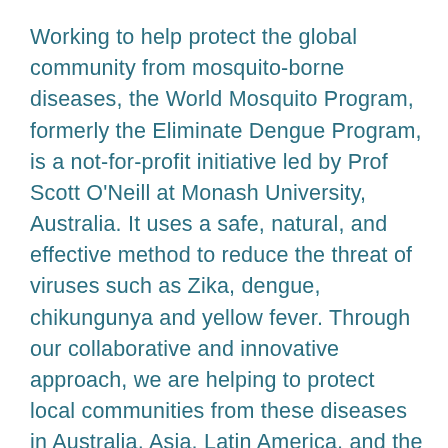Working to help protect the global community from mosquito-borne diseases, the World Mosquito Program, formerly the Eliminate Dengue Program, is a not-for-profit initiative led by Prof Scott O'Neill at Monash University, Australia. It uses a safe, natural, and effective method to reduce the threat of viruses such as Zika, dengue, chikungunya and yellow fever. Through our collaborative and innovative approach, we are helping to protect local communities from these diseases in Australia, Asia, Latin America, and the Pacific Islands. Following many years of laboratory research and field trials with promising results, the World Mosquito Program is now operating in 11 countries around the world.